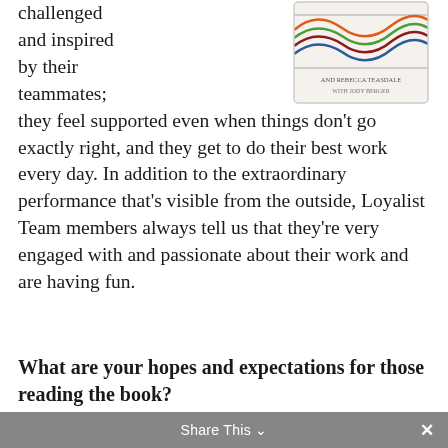[Figure (illustration): Book cover for a book by Rebecca Teasdale with Jody Berger, showing colorful wavy lines on a light background]
challenged and inspired by their teammates; they feel supported even when things don't go exactly right, and they get to do their best work every day. In addition to the extraordinary performance that's visible from the outside, Loyalist Team members always tell us that they're very engaged with and passionate about their work and are having fun.
What are your hopes and expectations for those reading the book?
Share This ∨  ✕